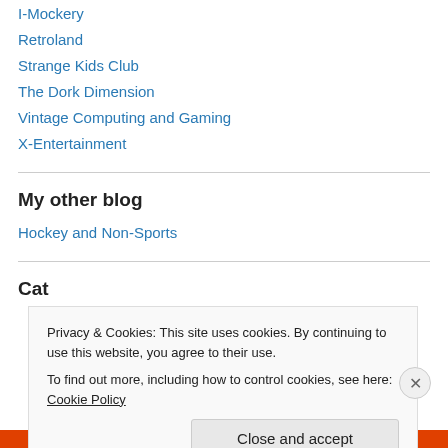I-Mockery
Retroland
Strange Kids Club
The Dork Dimension
Vintage Computing and Gaming
X-Entertainment
My other blog
Hockey and Non-Sports
Categories
Privacy & Cookies: This site uses cookies. By continuing to use this website, you agree to their use.
To find out more, including how to control cookies, see here: Cookie Policy
Close and accept